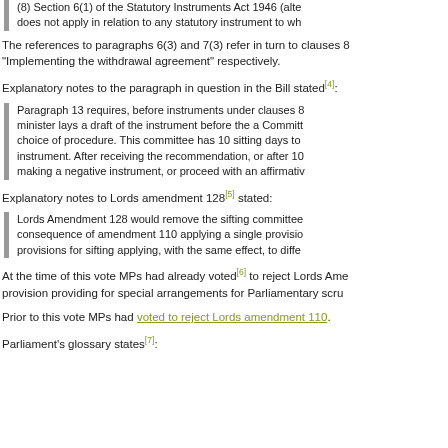(8) Section 6(1) of the Statutory Instruments Act 1946 (alte... does not apply in relation to any statutory instrument to wh...
The references to paragraphs 6(3) and 7(3) refer in turn to clauses 8... "Implementing the withdrawal agreement" respectively.
Explanatory notes to the paragraph in question in the Bill stated[4]:
Paragraph 13 requires, before instruments under clauses 8... minister lays a draft of the instrument before the a Commit... choice of procedure. This committee has 10 sitting days to... instrument. After receiving the recommendation, or after 10... making a negative instrument, or proceed with an affirmati...
Explanatory notes to Lords amendment 128[5] stated:
Lords Amendment 128 would remove the sifting committee... consequence of amendment 110 applying a single provisio... provisions for sifting applying, with the same effect, to diffe...
At the time of this vote MPs had already voted[6] to reject Lords Ame... provision providing for special arrangements for Parliamentary scru...
Prior to this vote MPs had voted to reject Lords amendment 110.
Parliament's glossary states[7]: